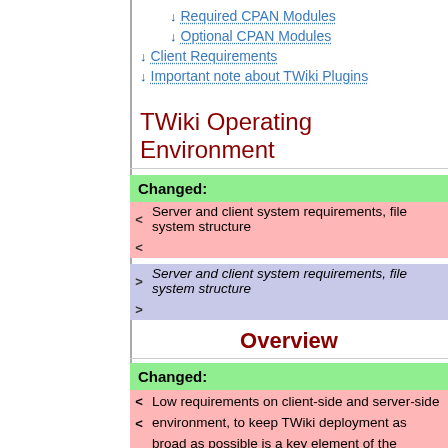↓ Required CPAN Modules
↓ Optional CPAN Modules
↓ Client Requirements
↓ Important note about TWiki Plugins
TWiki Operating Environment
Changed:
< Server and client system requirements, file system structure
> Server and client system requirements, file system structure
Overview
Changed:
< Low requirements on client-side and server-side environment, to keep TWiki deployment as broad as possible is a key element of the TWikiMission. Strict W3C and ECMA standards compliance is also a mandate. These requirements are amended from time to time as technology